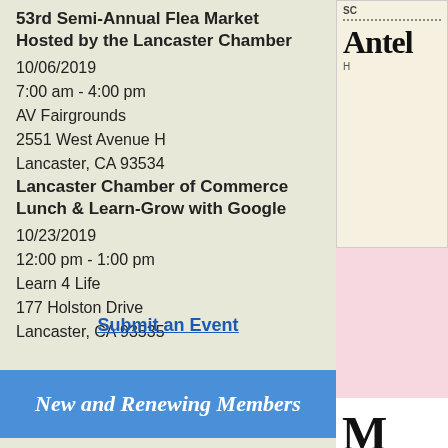53rd Semi-Annual Flea Market
Hosted by the Lancaster Chamber
10/06/2019
7:00 am - 4:00 pm
AV Fairgrounds
2551 West Avenue H
Lancaster, CA 93534
Lancaster Chamber of Commerce
Lunch & Learn-Grow with Google
10/23/2019
12:00 pm - 1:00 pm
Learn 4 Life
177 Holston Drive
Lancaster, CA 93535
Submit an Event
New and Renewing Members